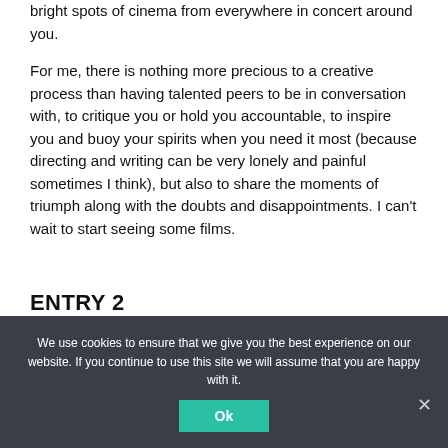bright spots of cinema from everywhere in concert around you.
For me, there is nothing more precious to a creative process than having talented peers to be in conversation with, to critique you or hold you accountable, to inspire you and buoy your spirits when you need it most (because directing and writing can be very lonely and painful sometimes I think), but also to share the moments of triumph along with the doubts and disappointments. I can't wait to start seeing some films.
ENTRY 2
The last few days have been overwhelming and
We use cookies to ensure that we give you the best experience on our website. If you continue to use this site we will assume that you are happy with it.